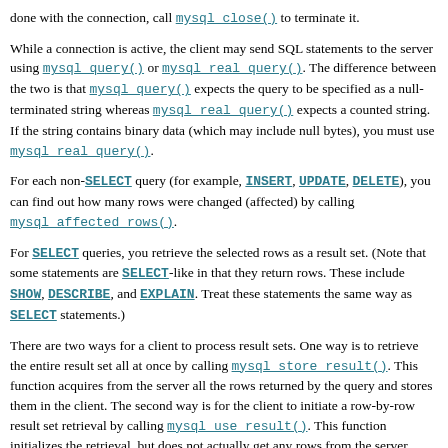done with the connection, call mysql_close() to terminate it.
While a connection is active, the client may send SQL statements to the server using mysql_query() or mysql_real_query(). The difference between the two is that mysql_query() expects the query to be specified as a null-terminated string whereas mysql_real_query() expects a counted string. If the string contains binary data (which may include null bytes), you must use mysql_real_query().
For each non-SELECT query (for example, INSERT, UPDATE, DELETE), you can find out how many rows were changed (affected) by calling mysql_affected_rows().
For SELECT queries, you retrieve the selected rows as a result set. (Note that some statements are SELECT-like in that they return rows. These include SHOW, DESCRIBE, and EXPLAIN. Treat these statements the same way as SELECT statements.)
There are two ways for a client to process result sets. One way is to retrieve the entire result set all at once by calling mysql_store_result(). This function acquires from the server all the rows returned by the query and stores them in the client. The second way is for the client to initiate a row-by-row result set retrieval by calling mysql_use_result(). This function initializes the retrieval, but does not actually get any rows from the server.
In both cases, you access rows by calling mysql_fetch_row().